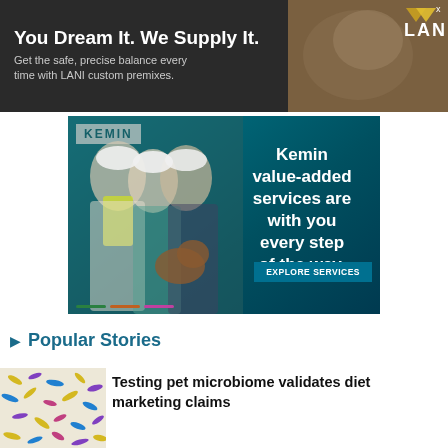[Figure (photo): LANI advertisement banner: dark background with dog image and LANI logo. Text: 'You Dream It. We Supply It. Get the safe, precise balance every time with LANI custom premixes.']
[Figure (photo): Kemin advertisement banner: teal background showing three workers in hard hats and hi-vis vest along with a dog. Text: 'Kemin value-added services are with you every step of the way.' with 'EXPLORE SERVICES' button.]
Popular Stories
[Figure (photo): Thumbnail image showing colorful microscope image of pet microbiome bacteria/cultures in yellow, purple and blue colors.]
Testing pet microbiome validates diet marketing claims